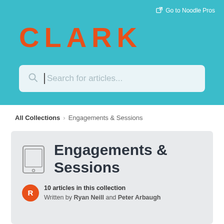Go to Noodle Pros
CLARK
[Figure (screenshot): Search bar with magnifying glass icon and placeholder text 'Search for articles...']
All Collections > Engagements & Sessions
Engagements & Sessions
10 articles in this collection
Written by Ryan Neill and Peter Arbaugh